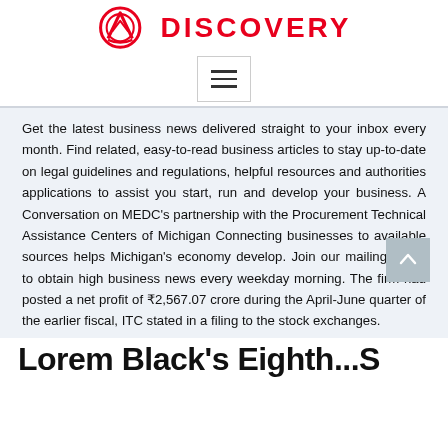[Figure (logo): Discovery logo with red circular emblem and red DISCOVERY text]
[Figure (other): Hamburger menu button with three horizontal lines]
Get the latest business news delivered straight to your inbox every month. Find related, easy-to-read business articles to stay up-to-date on legal guidelines and regulations, helpful resources and authorities applications to assist you start, run and develop your business. A Conversation on MEDC's partnership with the Procurement Technical Assistance Centers of Michigan Connecting businesses to available sources helps Michigan's economy develop. Join our mailing listing to obtain high business news every weekday morning. The firm had posted a net profit of ₹2,567.07 crore during the April-June quarter of the earlier fiscal, ITC stated in a filing to the stock exchanges.
Lorem Black's Eighth...S...